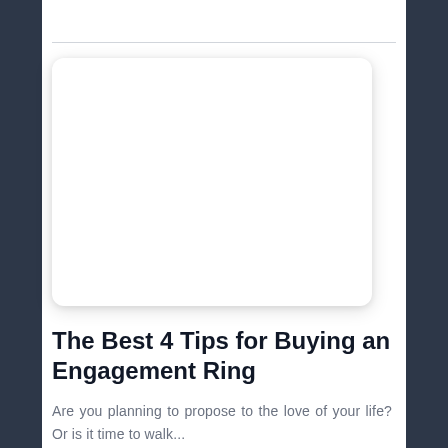[Figure (other): White rounded card placeholder image area with drop shadow, empty white content box]
The Best 4 Tips for Buying an Engagement Ring
Are you planning to propose to the love of your life? Or is it time to walk...